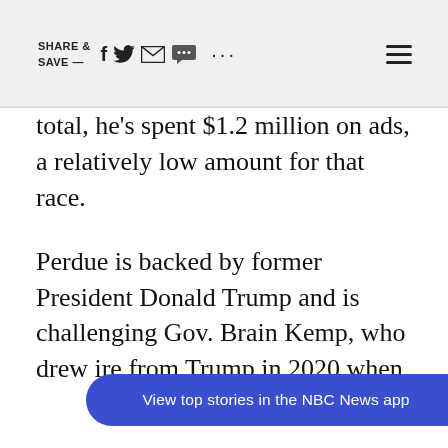SHARE & SAVE —  [social icons]  ...  ☰
total, he's spent $1.2 million on ads, a relatively low amount for that race.
Perdue is backed by former President Donald Trump and is challenging Gov. Brain Kemp, who drew ire from Trump in 2020 when he refused to overturn the results of the presidential election in the state, which was car Biden.
View top stories in the NBC News app